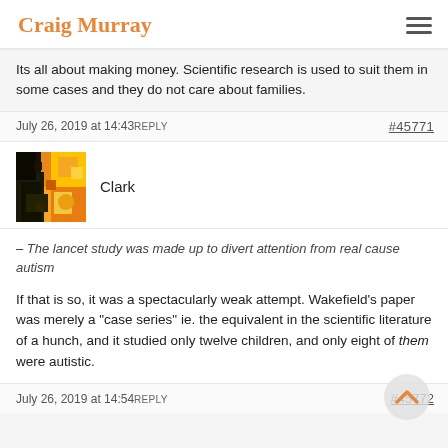Craig Murray
Its all about making money. Scientific research is used to suit them in some cases and they do not care about families.
July 26, 2019 at 14:43  REPLY   #45771
Clark
– The lancet study was made up to divert attention from real cause autism
If that is so, it was a spectacularly weak attempt. Wakefield's paper was merely a "case series" ie. the equivalent in the scientific literature of a hunch, and it studied only twelve children, and only eight of them were autistic.
July 26, 2019 at 14:54  REPLY   #45772